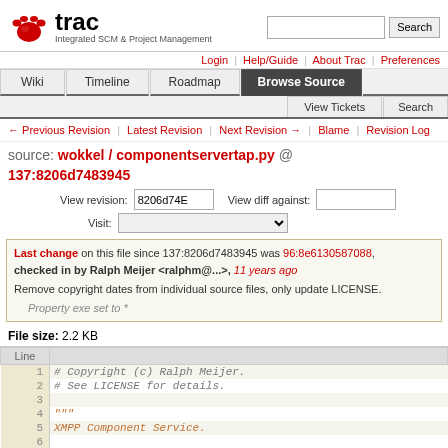[Figure (logo): Trac logo with red paw print and text 'trac - Integrated SCM & Project Management']
Login | Help/Guide | About Trac | Preferences
Wiki | Timeline | Roadmap | Browse Source | View Tickets | Search
← Previous Revision | Latest Revision | Next Revision → | Blame | Revision Log
source: wokkel / componentservertap.py @ 137:8206d7483945
View revision: 8206d74E    View diff against:
Visit:
Last change on this file since 137:8206d7483945 was 96:8e6130587088, checked in by Ralph Meijer <ralphm@...>, 11 years ago
Remove copyright dates from individual source files, only update LICENSE.
Property exe set to *
File size: 2.2 KB
| Line |  |
| --- | --- |
| 1 | # Copyright (c) Ralph Meijer. |
| 2 | # See LICENSE for details. |
| 3 |  |
| 4 | """ |
| 5 | XMPP Component Service. |
| 6 |  |